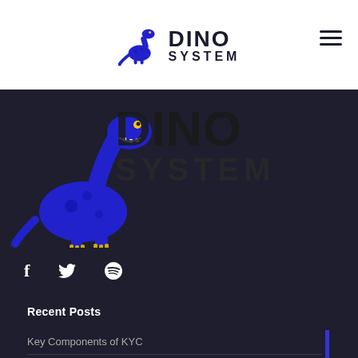[Figure (logo): Dino System logo in header: blue cartoon brachiosaurus dinosaur with DINO SYSTEM text]
[Figure (illustration): Large blue cartoon brachiosaurus dinosaur with DINO SYSTEM text overlay on dark background]
[Figure (infographic): Social media icons: Facebook (f), Twitter bird, Vimeo (V) in white on dark background]
Recent Posts
Key Components of KYC